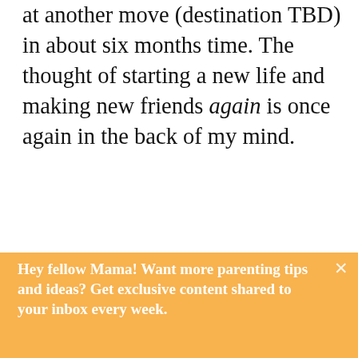at another move (destination TBD) in about six months time. The thought of starting a new life and making new friends again is once again in the back of my mind.
When you're a Family that
Hey fellow Mama! Want more parenting tips and ideas? Get exclusive content shared to your inbox every week.
Enter your email here
Give me more ideas!